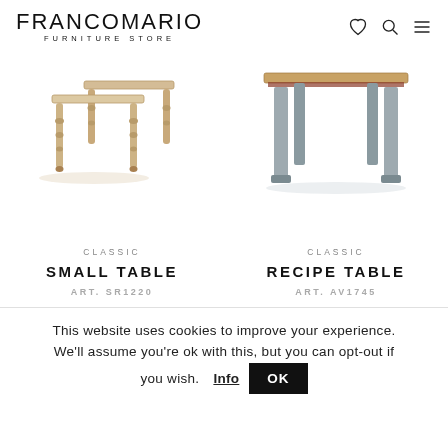FRANCOMARIO FURNITURE STORE
[Figure (photo): Two wooden small tables with turned legs, natural/beige finish, shown from the front-side angle]
[Figure (photo): A table with grey/blue painted legs and a wooden top, shown from below/side angle]
CLASSIC
SMALL TABLE
ART. SR1220
CLASSIC
RECIPE TABLE
ART. AV1745
This website uses cookies to improve your experience. We'll assume you're ok with this, but you can opt-out if you wish.  Info  OK